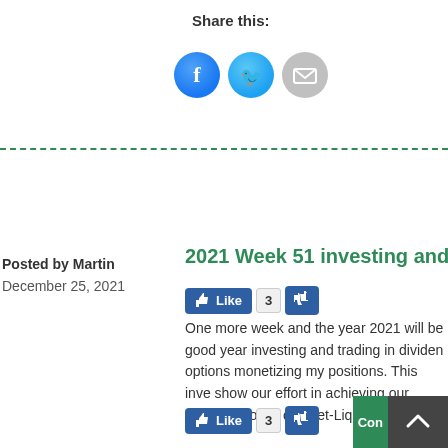Share this:
[Figure (infographic): Three share icons: Facebook (blue circle), Twitter (blue circle), Email (gray circle)]
Posted by Martin
December 25, 2021
2021 Week 51 investing and tra
[Figure (infographic): Like button with thumbs up, count of 3, and dislike button]
One more week and the year 2021 will be good year investing and trading in dividen options monetizing my positions. This inve show our effort in achieving our goals. As town, our Net-Liq recovered for
[Figure (infographic): Like button with thumbs up, count of 3, and dislike button (bottom)]